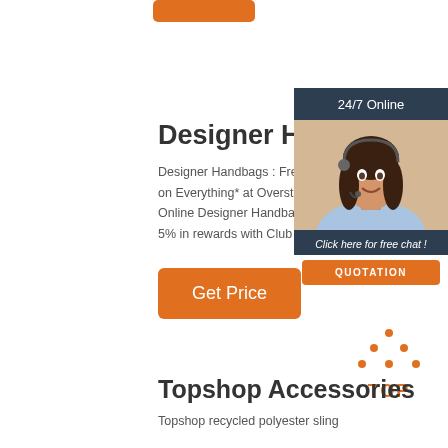[Figure (other): Orange 'Get Price' button at top]
[Figure (other): 24/7 Online chat widget with female customer service rep photo, 'Click here for free chat!' text, and orange QUOTATION button]
Designer Handbag
Designer Handbags : Free Sh on Everything* at Overstock - Online Designer Handbags S 5% in rewards with Club O!
[Figure (other): Orange 'Get Price' button]
[Figure (other): Orange TOP icon with dotted triangle above text]
Topshop Accessories
Topshop recycled polyester sling